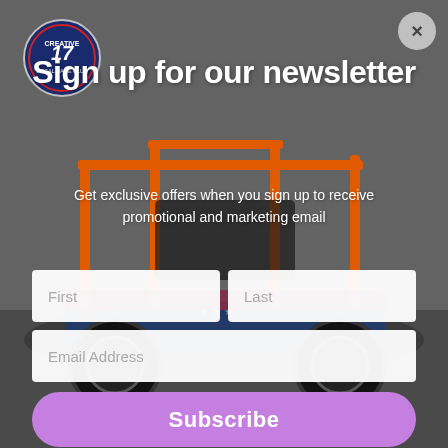[Figure (illustration): Background photo of a colorful off-road UTV/side-by-side vehicle with orange roll cage and patriotic decals, shown against a grey studio background. A circular logo for 'Creative' is visible in the upper left area.]
Sign up for our newsletter
Get exclusive offers when you sign up to receive promotional and marketing email
First
Last
Email Address
Subscribe
No Thanks!